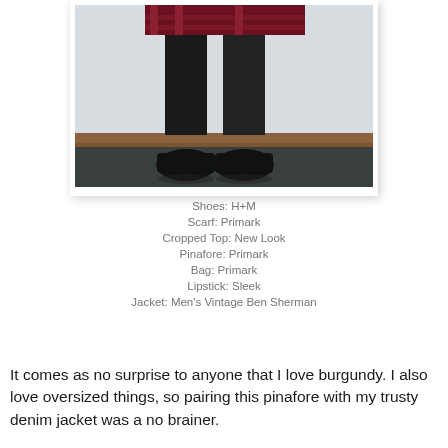[Figure (photo): Fashion photo showing lower half of a person wearing black tights, black shoes, a plaid/burgundy outfit, standing against a light wall with a dark carpet floor. Photo has white border with shadow like a polaroid.]
Shoes: H+M
Scarf: Primark
Cropped Top: New Look
Pinafore: Primark
Bag: Primark
Lipstick: Sleek
Jacket: Men's Vintage Ben Sherman
It comes as no surprise to anyone that I love burgundy. I also love oversized things, so pairing this pinafore with my trusty denim jacket was a no brainer.